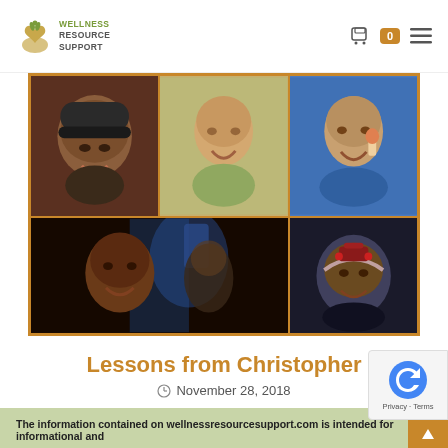[Figure (logo): Wellness Resource Support logo with leaf/heart icon and text]
[Figure (photo): Collage of 5 photos of a young child named Christopher in various poses and settings]
Lessons from Christopher
November 28, 2018
The information contained on wellnessresourcesupport.com is intended for informational and